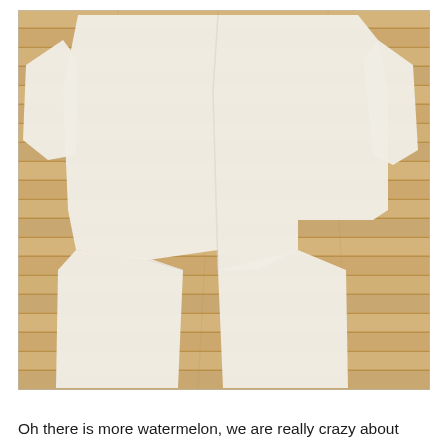[Figure (photo): A watermelon-print fabric (pajamas set) laid out flat on a light wood floor, viewed from above. The fabric is cream/white with repeating red watermelon slice illustrations scattered across it.]
Oh there is more watermelon, we are really crazy about